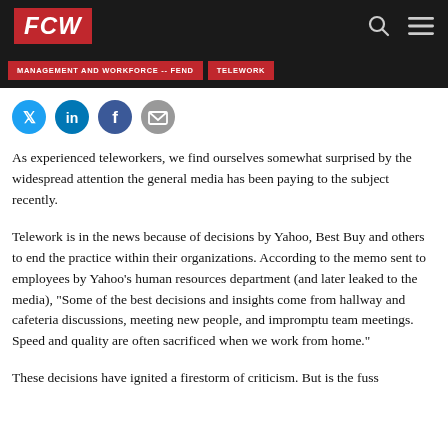FCW
MANAGEMENT AND WORKFORCE -- FEND   TELEWORK
[Figure (other): Social media sharing icons: Twitter, LinkedIn, Facebook, Email]
As experienced teleworkers, we find ourselves somewhat surprised by the widespread attention the general media has been paying to the subject recently.
Telework is in the news because of decisions by Yahoo, Best Buy and others to end the practice within their organizations. According to the memo sent to employees by Yahoo's human resources department (and later leaked to the media), "Some of the best decisions and insights come from hallway and cafeteria discussions, meeting new people, and impromptu team meetings. Speed and quality are often sacrificed when we work from home."
These decisions have ignited a firestorm of criticism. But is the fuss